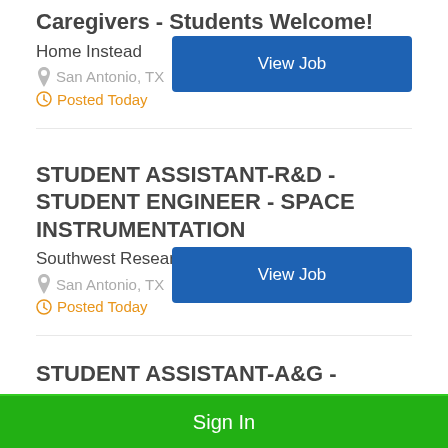Caregivers - Students Welcome!
Home Instead
San Antonio, TX
Posted Today
STUDENT ASSISTANT-R&D - STUDENT ENGINEER - SPACE INSTRUMENTATION
Southwest Research Institute
San Antonio, TX
Posted Today
STUDENT ASSISTANT-A&G - STUDENT SPECIALIST -
Sign In